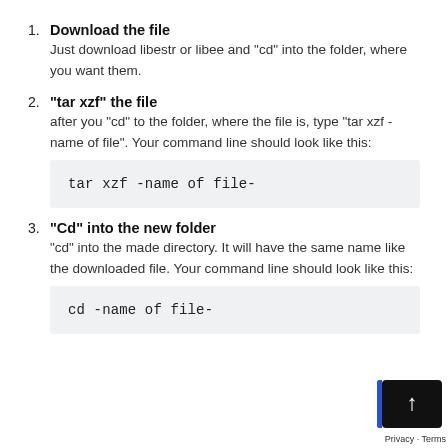1. Download the file
Just download libestr or libee and “cd” into the folder, where you want them.
2. “tar xzf” the file
after you “cd” to the folder, where the file is, type “tar xzf -name of file”. Your command line should look like this:
[Figure (screenshot): Code block showing: tar xzf -name of file-]
3. “Cd” into the new folder
“cd” into the made directory. It will have the same name like the downloaded file. Your command line should look like this:
[Figure (screenshot): Code block showing: cd -name of file-]